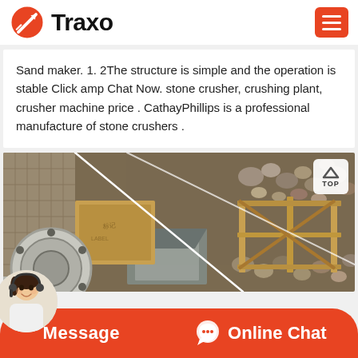Traxo
Sand maker. 1. 2The structure is simple and the operation is stable Click amp Chat Now. stone crusher, crushing plant, crusher machine price . CathayPhillips is a professional manufacture of stone crushers .
[Figure (photo): Overhead view of industrial stone crushing/sand making machinery with wooden frame structures, rocks, hoppers, and a large pipe flange visible in an industrial setting. A diagonal white line/path overlays the image.]
Message   Online Chat